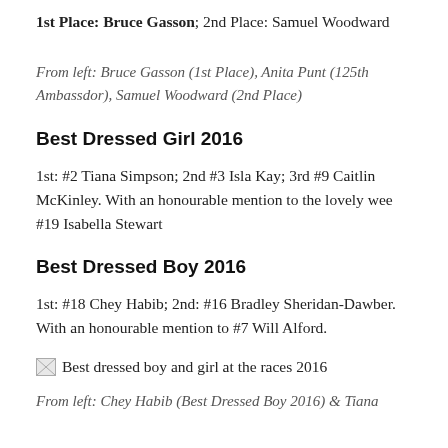1st Place: Bruce Gasson; 2nd Place: Samuel Woodward
From left: Bruce Gasson (1st Place), Anita Punt (125th Ambassdor), Samuel Woodward (2nd Place)
Best Dressed Girl 2016
1st: #2 Tiana Simpson; 2nd #3 Isla Kay; 3rd #9 Caitlin McKinley. With an honourable mention to the lovely wee #19 Isabella Stewart
Best Dressed Boy 2016
1st: #18 Chey Habib; 2nd: #16 Bradley Sheridan-Dawber. With an honourable mention to #7 Will Alford.
[Figure (photo): Best dressed boy and girl at the races 2016]
From left: Chey Habib (Best Dressed Boy 2016) & Tiana